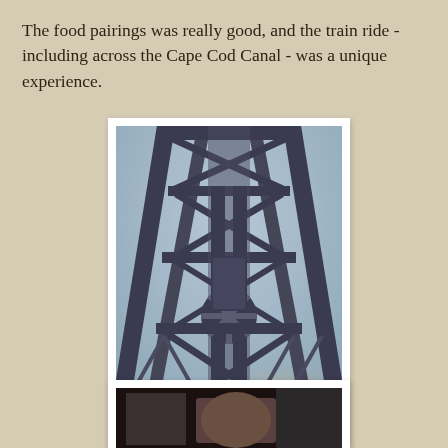The food pairings was really good, and the train ride - including across the Cape Cod Canal - was a unique experience.
[Figure (photo): A photo taken from inside a train looking up at the steel truss structure of a railroad bridge spanning the Cape Cod Canal. The metal lattice framework fills the frame with a pale sky visible through the open sections.]
[Figure (photo): A partially visible second photograph at the bottom of the page, appearing to show a person or interior scene, cropped off by the page edge.]